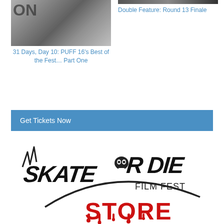[Figure (photo): Black and white photo of a person, partial text 'ON' visible at top]
31 Days, Day 10: PUFF 16's Best of the Fest… Part One
[Figure (photo): Partial image at top right]
Double Feature: Round 13 Finale
Get Tickets Now
[Figure (logo): Skate or Die Film Fest Store logo with skull graphic, black lettering and red dripping STORE text]